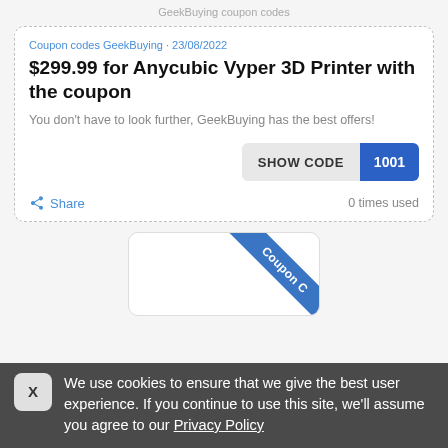GeekBuying coupon codes
Coupon codes GeekBuying · 23/08/2022
$299.99 for Anycubic Vyper 3D Printer with the coupon
You don't have to look further, GeekBuying has the best offers!
SHOW CODE | 1001
Share   0 times used
[Figure (illustration): Partial second coupon card with a blue diagonal ribbon labeled 'Coupon C']
We use cookies to ensure that we give the best user experience. If you continue to use this site, we'll assume you agree to our Privacy Policy